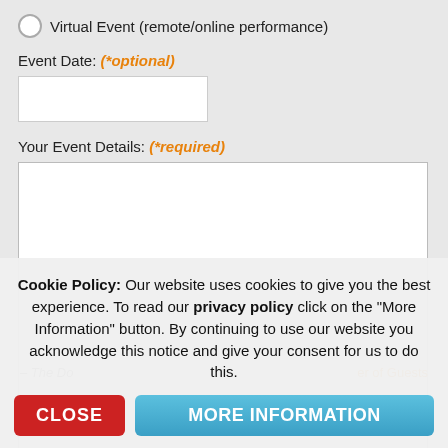Virtual Event (remote/online performance)
Event Date: (*optional)
Your Event Details: (*required)
Cookie Policy: Our website uses cookies to give you the best experience. To read our privacy policy click on the "More Information" button. By continuing to use our website you acknowledge this notice and give your consent for us to do this.
CLOSE
MORE INFORMATION